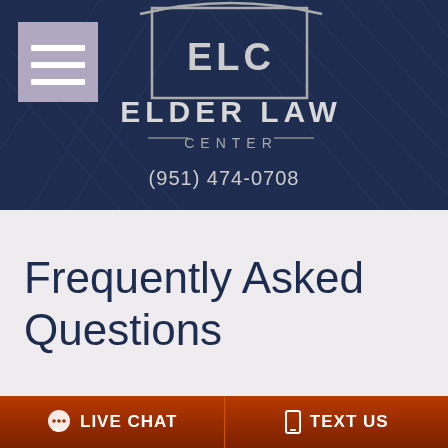[Figure (logo): Elder Law Center logo with ELC monogram in a rectangular border and swoosh above, with 'ELDER LAW CENTER' text below in navy blue on dark background]
(951) 474-0708
Frequently Asked Questions